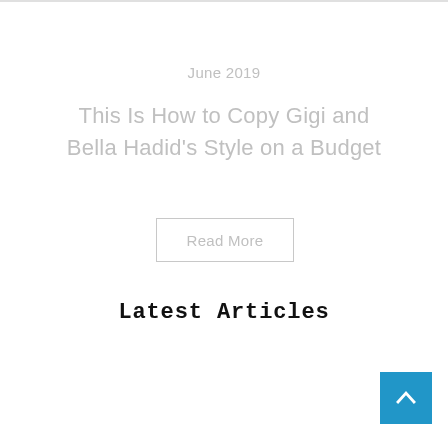June 2019
This Is How to Copy Gigi and Bella Hadid's Style on a Budget
Read More
Latest Articles
[Figure (other): Blue square back-to-top button with white chevron/arrow pointing up]